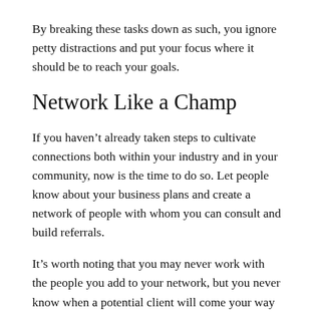By breaking these tasks down as such, you ignore petty distractions and put your focus where it should be to reach your goals.
Network Like a Champ
If you haven't already taken steps to cultivate connections both within your industry and in your community, now is the time to do so. Let people know about your business plans and create a network of people with whom you can consult and build referrals.
It's worth noting that you may never work with the people you add to your network, but you never know when a potential client will come your way via one of your connections, and a part of building a successful